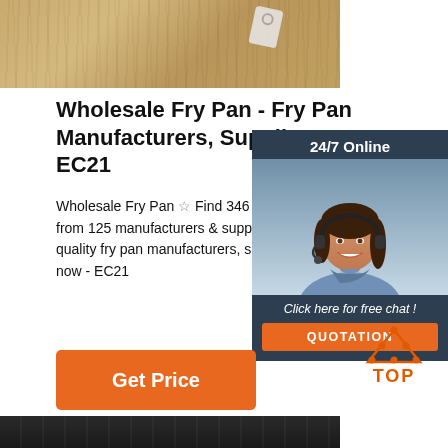[Figure (photo): Wooden surface/table top with a metal tag or tool visible, brown wood grain texture]
Wholesale Fry Pan - Fry Pan Manufacturers, Suppliers - EC21
Wholesale Fry Pan ☆ Find 346 fry pan products from 125 manufacturers & suppliers at ... Choose quality fry pan manufacturers, suppliers & exporters now - EC21
[Figure (illustration): 24/7 Online chat widget with dark blue background, customer service agent photo (woman with headset), 'Click here for free chat!' text, and orange QUOTATION button]
[Figure (illustration): Orange 'Get Price' button]
[Figure (illustration): Orange 'TOP' button with triangle/dots icon above it]
[Figure (photo): Dark wooden surface, bottom of page image]